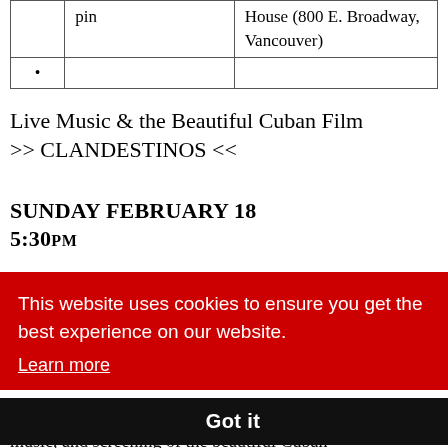| pin | House (800 E. Broadway, Vancouver) |
| • |  |
Live Music & the Beautiful Cuban Film >> CLANDESTINOS <<
SUNDAY FEBRUARY 18
5:30PM
This website uses cookies to ensure you get the best experience on our website.
Learn more
Got it
music, and screening of the beautiful Cuban